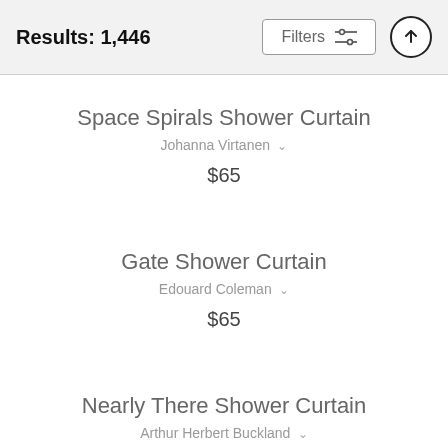Results: 1,446
Space Spirals Shower Curtain
Johanna Virtanen
$65
Gate Shower Curtain
Edouard Coleman
$65
Nearly There Shower Curtain
Arthur Herbert Buckland